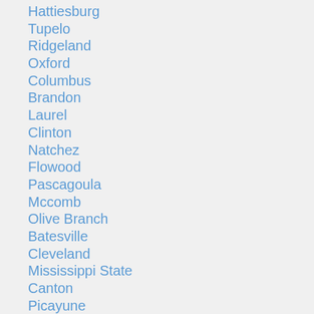Hattiesburg
Tupelo
Ridgeland
Oxford
Columbus
Brandon
Laurel
Clinton
Natchez
Flowood
Pascagoula
Mccomb
Olive Branch
Batesville
Cleveland
Mississippi State
Canton
Picayune
Clarksdale
Pontotoc
Bay St Louis
Indianola
Lucedale